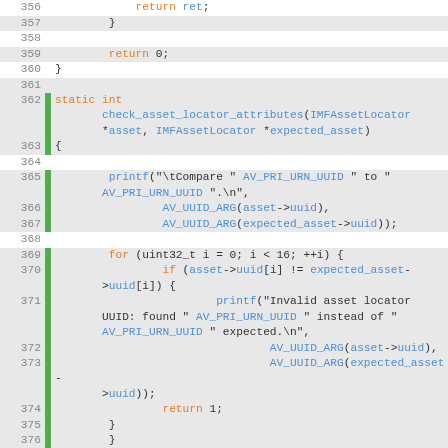[Figure (screenshot): Source code listing in C showing lines 356-380 of a file, with line numbers, green change markers in the gutter, and syntax highlighting (orange keywords, blue identifiers). The code implements a check_asset_locator_attributes function that compares IMFAssetLocator fields including uuid and absolute_uri.]